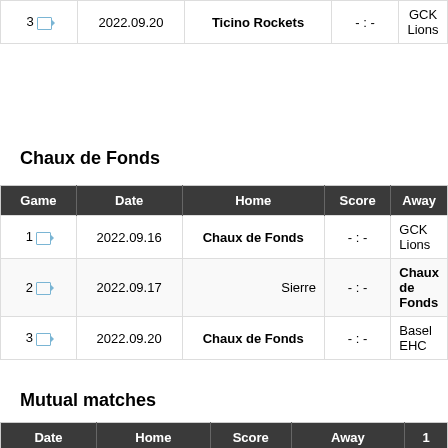| Game | Date | Home | Score | Away |
| --- | --- | --- | --- | --- |
| 3 | 2022.09.20 | Ticino Rockets | - : - | GCK Lions |
Chaux de Fonds
| Game | Date | Home | Score | Away |
| --- | --- | --- | --- | --- |
| 1 | 2022.09.16 | Chaux de Fonds | - : - | GCK Lions |
| 2 | 2022.09.17 | Sierre | - : - | Chaux de Fonds |
| 3 | 2022.09.20 | Chaux de Fonds | - : - | Basel EHC |
Mutual matches
| Date | Home | Score | Away | 1 |
| --- | --- | --- | --- | --- |